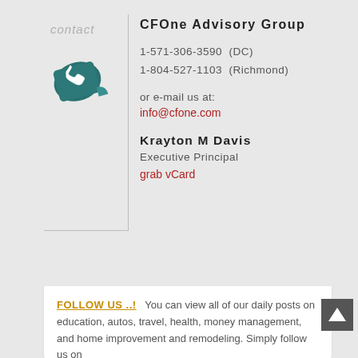contact
[Figure (illustration): Teal/dark green telephone/address book icon]
CFOne Advisory Group
1-571-306-3590  (DC)
1-804-527-1103  (Richmond)
or e-mail us at:
info@cfone.com
Krayton M Davis
Executive Principal
grab vCard
FOLLOW US ..!   You can view all of our daily posts on education, autos, travel, health, money management, and home improvement and remodeling. Simply follow us on